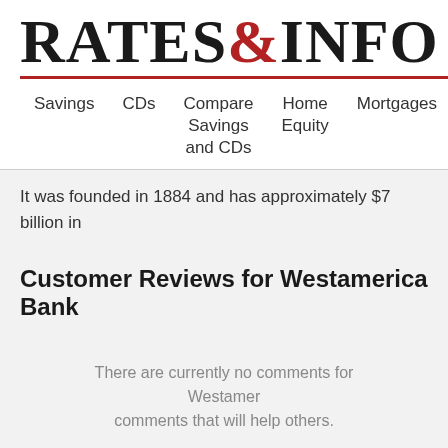RATES&INFO
Savings   CDs   Compare Savings and CDs   Home Equity   Mortgages   Loan
It was founded in 1884 and has approximately $7 billion in
Customer Reviews for Westamerica Bank
There are currently no comments for Westamer... comments that will help others.